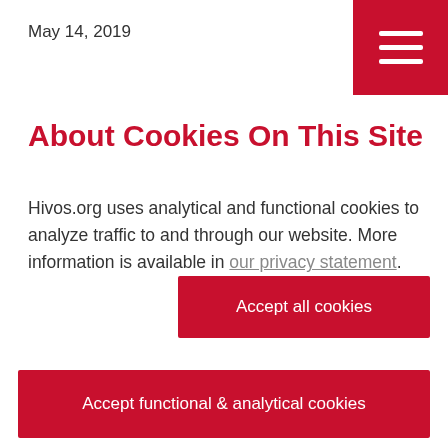May 14, 2019
About Cookies On This Site
Hivos.org uses analytical and functional cookies to analyze traffic to and through our website. More information is available in our privacy statement.
Accept all cookies
Accept functional & analytical cookies